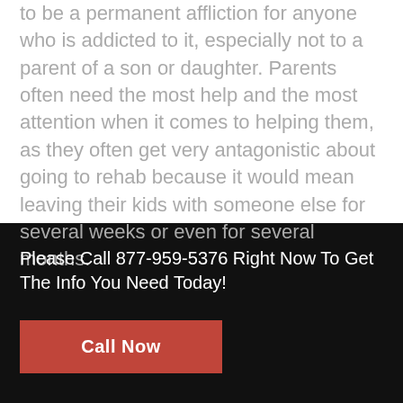to be a permanent affliction for anyone who is addicted to it, especially not to a parent of a son or daughter. Parents often need the most help and the most attention when it comes to helping them, as they often get very antagonistic about going to rehab because it would mean leaving their kids with someone else for several weeks or even for several months.
Please Call 877-959-5376 Right Now To Get The Info You Need Today!
Call Now